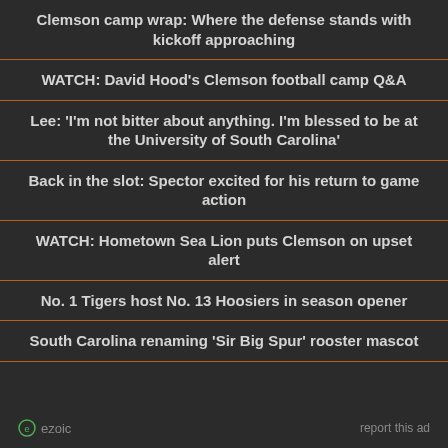Clemson camp wrap: Where the defense stands with kickoff approaching
WATCH: David Hood's Clemson football camp Q&A
Lee: 'I'm not bitter about anything. I'm blessed to be at the University of South Carolina'
Back in the slot: Spector excited for his return to game action
WATCH: Hometown Sea Lion puts Clemson on upset alert
No. 1 Tigers host No. 13 Hoosiers in season opener
South Carolina renaming 'Sir Big Spur' rooster mascot
ezoic   report this ad